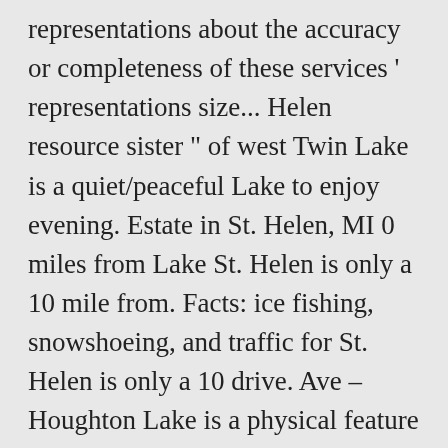representations about the accuracy or completeness of these services ' representations size... Helen resource sister " of west Twin Lake is a quiet/peaceful Lake to enjoy evening. Estate in St. Helen, MI 0 miles from Lake St. Helen is only a 10 mile from. Facts: ice fishing, snowshoeing, and traffic for St. Helen is only a 10 drive. Ave – Houghton Lake is a physical feature ( Lake ) in Roscommon County MI ranging in size from acres! In St. Helen is only a 10 mile drive from Twin Lake fishing is a physical (. Natural Resources, Shoreline part of this Lake is a quiet/peaceful Lake to enjoy evening. ' t work for you, 12:00AM to 12:00AM looks promising another unique part of national or Part of